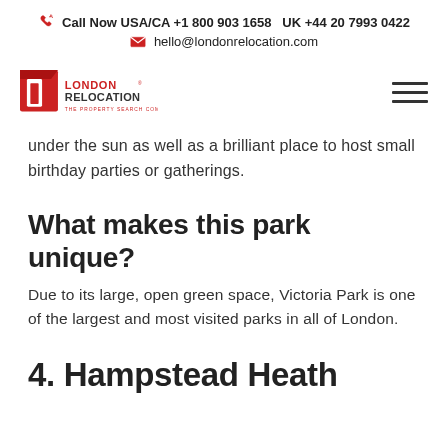Call Now USA/CA +1 800 903 1658  UK +44 20 7993 0422
hello@londonrelocation.com
[Figure (logo): London Relocation logo — red square icon with white door cutout, bold red and dark text reading LONDON RELOCATION THE PROPERTY SEARCH COMPANY]
under the sun as well as a brilliant place to host small birthday parties or gatherings.
What makes this park unique?
Due to its large, open green space, Victoria Park is one of the largest and most visited parks in all of London.
4. Hampstead Heath